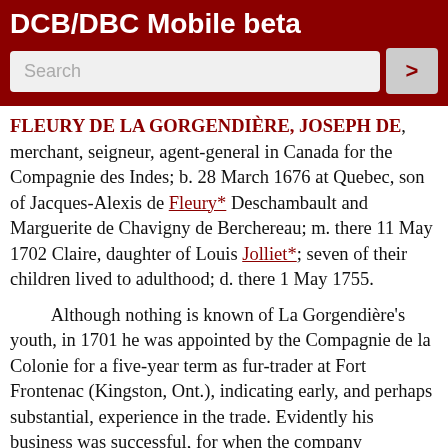DCB/DBC Mobile beta
FLEURY DE LA GORGENDIÈRE, JOSEPH DE, merchant, seigneur, agent-general in Canada for the Compagnie des Indes; b. 28 March 1676 at Quebec, son of Jacques-Alexis de Fleury* Deschambault and Marguerite de Chavigny de Berchereau; m. there 11 May 1702 Claire, daughter of Louis Jolliet*; seven of their children lived to adulthood; d. there 1 May 1755.
Although nothing is known of La Gorgendière's youth, in 1701 he was appointed by the Compagnie de la Colonie for a five-year term as fur-trader at Fort Frontenac (Kingston, Ont.), indicating early, and perhaps substantial, experience in the trade. Evidently his business was successful, for when the company abandoned the post he was appointed, on 23 Jan. 1706, as chief trader on the government's account, with an annual wage of 900 livres; in September of that year he was made subdelegate of the intendant